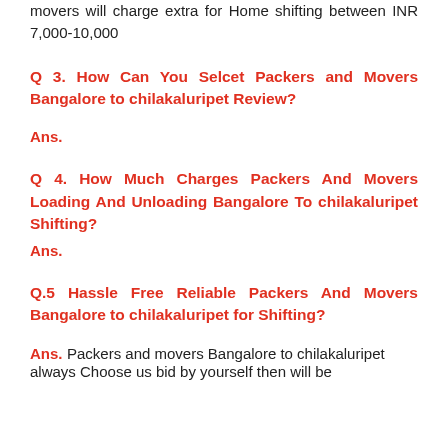movers will charge extra for Home shifting between INR 7,000-10,000
Q 3.  How Can You Selcet Packers and Movers Bangalore to chilakaluripet Review?
Ans.
Q 4. How Much Charges Packers And Movers Loading And Unloading Bangalore To chilakaluripet Shifting?
Ans.
Q.5 Hassle Free Reliable Packers And Movers Bangalore to chilakaluripet for Shifting?
Ans. Packers and movers Bangalore to chilakaluripet always Choose us bid by yourself then will be